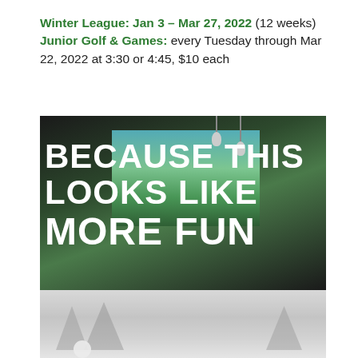Winter League: Jan 3 – Mar 27, 2022 (12 weeks) Junior Golf & Games: every Tuesday through Mar 22, 2022 at 3:30 or 4:45, $10 each
[Figure (photo): Indoor golf simulator room with large screen showing a golf course, pendant lights, seating areas, with bold white text overlay reading BECAUSE THIS LOOKS LIKE MORE FUN]
[Figure (photo): Snowy outdoor winter scene with trees covered in snow, gray overcast sky, golf ball visible in foreground]